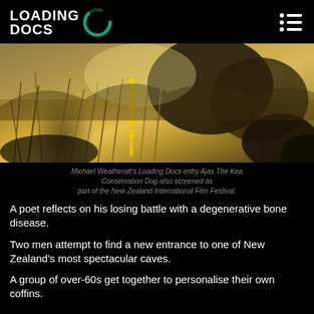LOADING DOCS
[Figure (photo): Person crouching in tall golden grass and shrubs in a natural landscape, holding a measuring instrument. Back-lit scene with mountains in background.]
Michael Weatheratt's Loading Docs entry Ajax The Kea Conservation Dog also screened as part of the New Zealand International Film Festival.
A poet reflects on his losing battle with a degenerative bone disease.
Two men attempt to find a new entrance to one of New Zealand's most spectacular caves.
A group of over-60s get together to personalise their own coffins.